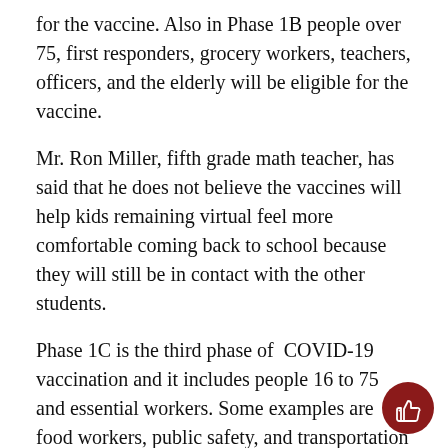for the vaccine. Also in Phase 1B people over 75, first responders, grocery workers, teachers, officers, and the elderly will be eligible for the vaccine.
Mr. Ron Miller, fifth grade math teacher, has said that he does not believe the vaccines will help kids remaining virtual feel more comfortable coming back to school because they will still be in contact with the other students.
Phase 1C is the third phase of COVID-19 vaccination and it includes people 16 to 75 and essential workers. Some examples are food workers, public safety, and transportation workers. Everyone has different opinions about the vaccine, but most people are choosing to get it.  The president is working very hard to get the vaccine out to as many people as possib…
[Figure (illustration): Dark red circle with a thumbs-up icon in white, positioned at the bottom-right corner of the page.]